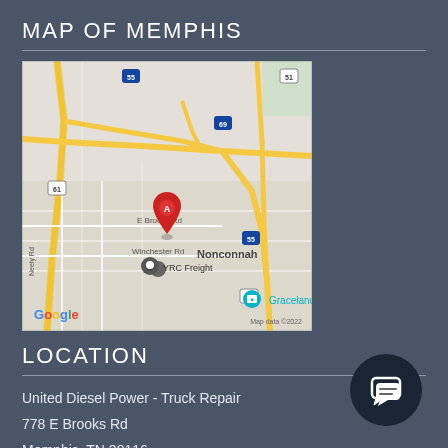MAP OF MEMPHIS
[Figure (map): Google Map screenshot showing Memphis area with marker A near 778 E Brooks Rd, showing Nonconnah neighborhood, YRC Freight, Graceland, highways 55, 51, 61, 69, E Brooks Rd, Winchester Rd, Neely Rd. Map data ©2022.]
LOCATION
United Diesel Power - Truck Repair
778 E Brooks Rd
Memphis, TN 38116
Phone: (901) 619-4344